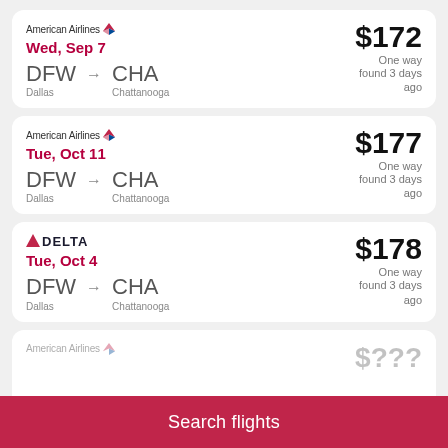American Airlines — Wed, Sep 7 — DFW → CHA Dallas → Chattanooga — $172 One way found 3 days ago
American Airlines — Tue, Oct 11 — DFW → CHA Dallas → Chattanooga — $177 One way found 3 days ago
Delta — Tue, Oct 4 — DFW → CHA Dallas → Chattanooga — $178 One way found 3 days ago
Search flights